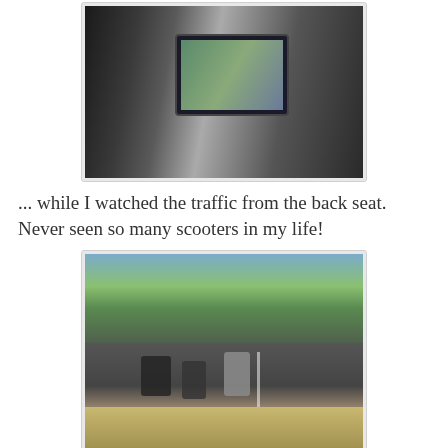[Figure (photo): Two people inside a car; one person holds up a tablet displaying an image, the other watches from the back seat.]
... while I watched the traffic from the back seat. Never seen so many scooters in my life!
[Figure (photo): View from inside a car looking through the windshield at a busy street in Saigon with multiple scooters and motorcycles in traffic, trees and a building in the background.]
We drove all over Saigon, taking in the sights, and even stopped at a shop that sells old car parts, so the Sergeant could take photos. Our tour guide, a lovely young woman in